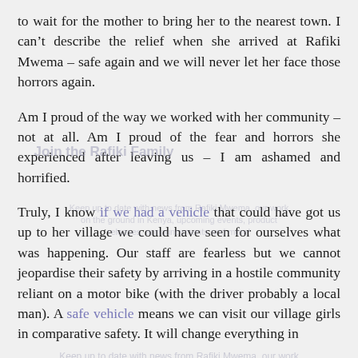to wait for the mother to bring her to the nearest town. I can't describe the relief when she arrived at Rafiki Mwema – safe again and we will never let her face those horrors again.
Am I proud of the way we worked with her community – not at all. Am I proud of the fear and horrors she experienced after leaving us – I am ashamed and horrified.
Truly, I know if we had a vehicle that could have got us up to her village we could have seen for ourselves what was happening. Our staff are fearless but we cannot jeopardise their safety by arriving in a hostile community reliant on a motor bike (with the driver probably a local man). A safe vehicle means we can visit our village girls in comparative safety. It will change everything in